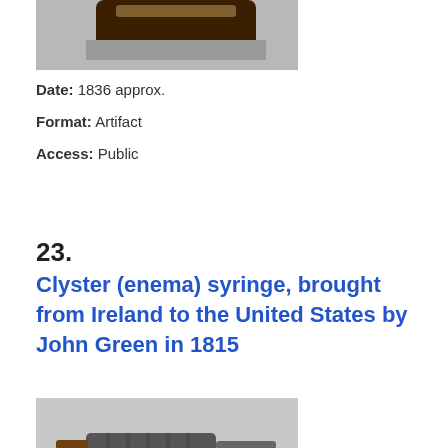[Figure (photo): Partial photo of a medical artifact against a grey background, top portion visible]
Date:  1836 approx.
Format:  Artifact
Access:  Public
23.
Clyster (enema) syringe, brought from Ireland to the United States by John Green in 1815
[Figure (photo): Photo of a clyster (enema) syringe displayed on a wooden mount, shown against a grey background]